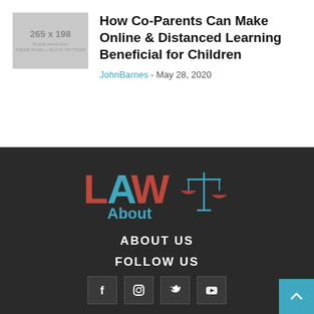[Figure (other): Thumbnail placeholder showing 265 x 198 with text 'Enable thumb from THEME PANEL + BLOCK SETTINGS']
How Co-Parents Can Make Online & Distanced Learning Beneficial for Children
JohnBarnes - May 28, 2020
[Figure (logo): LAWAbout law firm logo with teal text and brown/red scales of justice icon]
ABOUT US
FOLLOW US
[Figure (other): Social media icons for Facebook, Instagram, Twitter, YouTube]